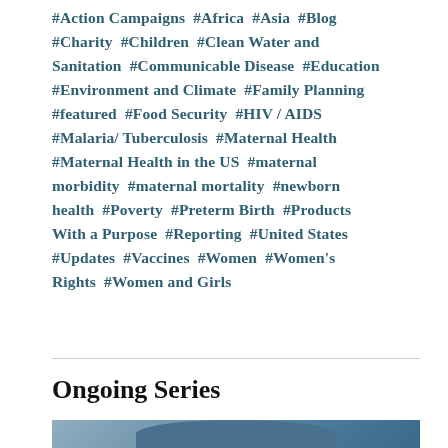#Action Campaigns #Africa #Asia #Blog #Charity #Children #Clean Water and Sanitation #Communicable Disease #Education #Environment and Climate #Family Planning #featured #Food Security #HIV / AIDS #Malaria/ Tuberculosis #Maternal Health #Maternal Health in the US #maternal morbidity #maternal mortality #newborn health #Poverty #Preterm Birth #Products With a Purpose #Reporting #United States #Updates #Vaccines #Women #Women's Rights #Women and Girls
Ongoing Series
[Figure (photo): Photo strip at the bottom of the page showing a person in a medical/healthcare setting, partially visible]